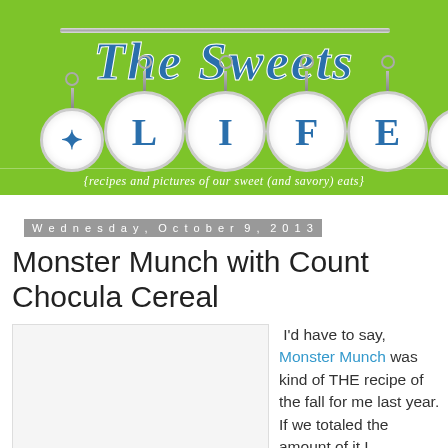[Figure (logo): The Sweets Life blog header banner with green background, letters L, I, F, E in hanging magnifying-glass style circles on a rod, with decorative star/asterisk circles on each side, and subtitle text at the bottom.]
Wednesday, October 9, 2013
Monster Munch with Count Chocula Cereal
[Figure (photo): White/blank image placeholder area]
I'd have to say, Monster Munch was kind of THE recipe of the fall for me last year. If we totaled the amount of it I consumed last